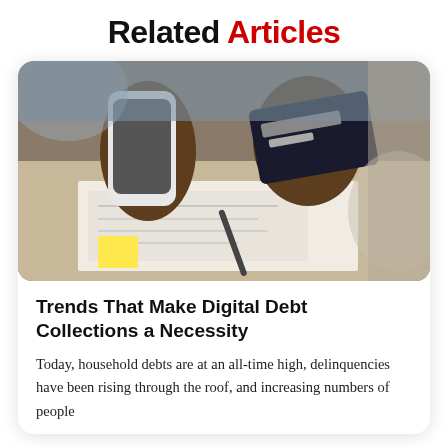Related Articles
[Figure (photo): Close-up of a person's hands holding a white smartphone in one hand and a dark credit card in the other hand, with financial documents and a pen on the desk in front of them.]
Trends That Make Digital Debt Collections a Necessity
Today, household debts are at an all-time high, delinquencies have been rising through the roof, and increasing numbers of people